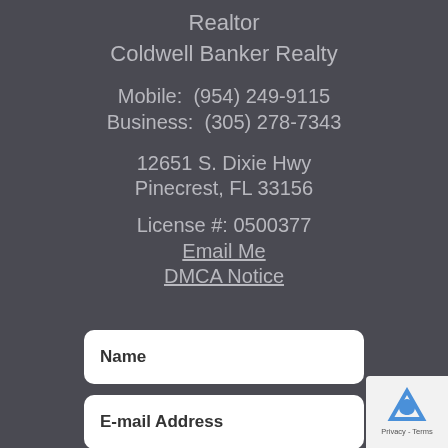Realtor
Coldwell Banker Realty
Mobile:  (954) 249-9115
Business:  (305) 278-7343
12651 S. Dixie Hwy
Pinecrest, FL 33156
License #: 0500377
Email Me
DMCA Notice
Name
E-mail Address
Phone Number